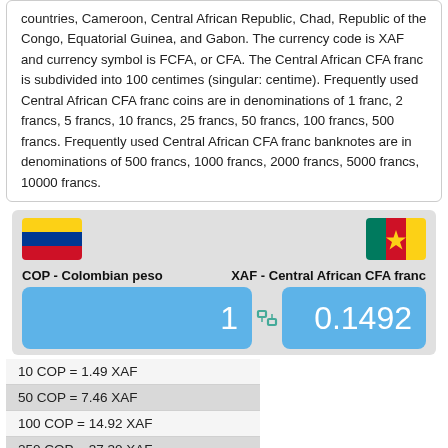countries, Cameroon, Central African Republic, Chad, Republic of the Congo, Equatorial Guinea, and Gabon. The currency code is XAF and currency symbol is FCFA, or CFA. The Central African CFA franc is subdivided into 100 centimes (singular: centime). Frequently used Central African CFA franc coins are in denominations of 1 franc, 2 francs, 5 francs, 10 francs, 25 francs, 50 francs, 100 francs, 500 francs. Frequently used Central African CFA franc banknotes are in denominations of 500 francs, 1000 francs, 2000 francs, 5000 francs, 10000 francs.
[Figure (infographic): Currency converter widget showing Colombian peso (COP) to Central African CFA franc (XAF) conversion. Flags of Colombia and Cameroon displayed. Input 1 COP = 0.1492 XAF.]
| 10 COP = 1.49 XAF |
| 50 COP = 7.46 XAF |
| 100 COP = 14.92 XAF |
| 250 COP = 37.30 XAF |
| 500 COP = 74.61 XAF |
| 1,000 COP = 149.21 XAF |
| 2,000 COP = 298.42 XAF |